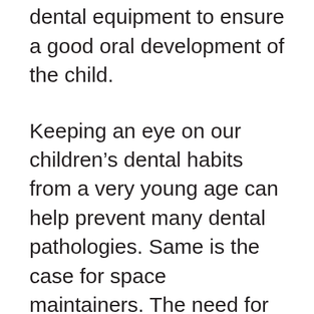the placement of these dental equipment to ensure a good oral development of the child.
Keeping an eye on our children's dental habits from a very young age can help prevent many dental pathologies. Same is the case for space maintainers. The need for space maintainers comes into play because of a lot of reasons, one of them is our children being irresponsible with newly appearing teeth.
Space between teeth is not so much of a problem and can be easily fixed using space maintainers. Your pediatric dentist can help you with them as they are a relatively simple procedure without many